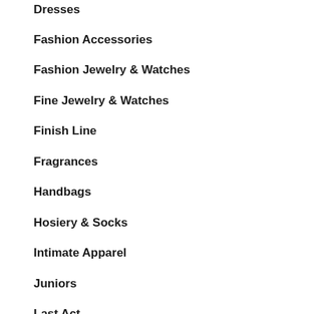Dresses
Fashion Accessories
Fashion Jewelry & Watches
Fine Jewelry & Watches
Finish Line
Fragrances
Handbags
Hosiery & Socks
Intimate Apparel
Juniors
Last Act
Macy Woman
Maternity